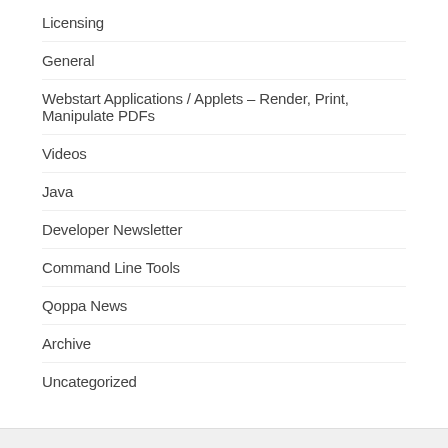Licensing
General
Webstart Applications / Applets – Render, Print, Manipulate PDFs
Videos
Java
Developer Newsletter
Command Line Tools
Qoppa News
Archive
Uncategorized
See our PDF technology in action!
By trying our end-user tools below:
Try PDF Studio